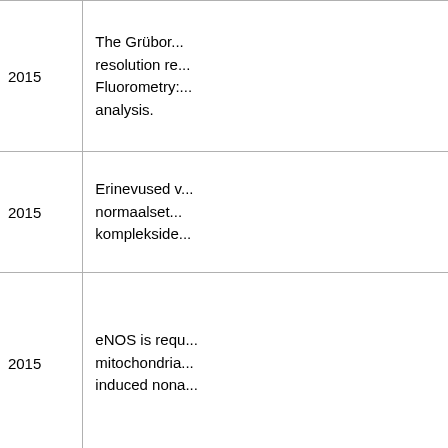| Reference | Year | Description |
| --- | --- | --- |
| Luher 2015 Abstract MiPschool Cape Town 2015 | 2015 | The Grüboro... resolution re... Fluorometry:... analysis. |
| Kokassaar 2015 Eesti Arst | 2015 | Erinevused v... normaalset... komplekside... |
| Sheldon 2015 Abstract MiPschool Greenville 2015 | 2015 | eNOS is requ... mitochondria... induced nona... |
| Weidgang 2015 Abstract MiP2015 | 2015 | Mitochondria... biopsies from... diaphragm fr... trauma and b... novel hydrog... |
| Hoppel 2015 Abstract MiPschool London 2015 | 2015 | Human bloo... mitochondria... production. |